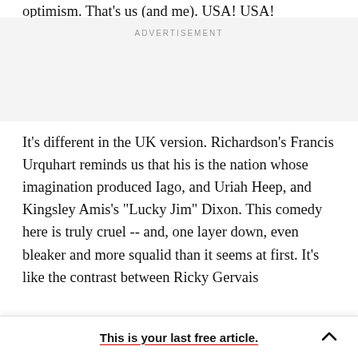optimism. That's us (and me). USA! USA!
ADVERTISEMENT
It's different in the UK version. Richardson's Francis Urquhart reminds us that his is the nation whose imagination produced Iago, and Uriah Heep, and Kingsley Amis's "Lucky Jim" Dixon. This comedy here is truly cruel -- and, one layer down, even bleaker and more squalid than it seems at first. It's like the contrast between Ricky Gervais
This is your last free article.